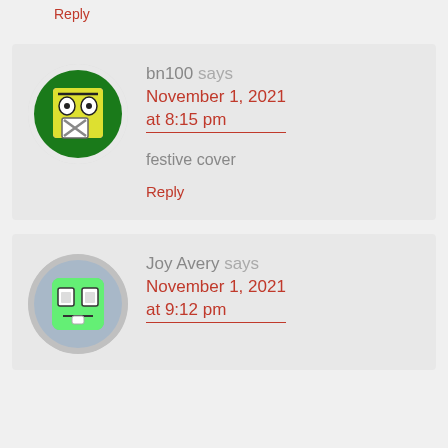Reply
[Figure (illustration): Circular avatar with green background and a yellow square robot/emoji face with wide eyes and an X-shaped mouth]
bn100 says
November 1, 2021 at 8:15 pm
festive cover
Reply
[Figure (illustration): Circular avatar with gray/blue background and a green square robot/emoji face with rectangular eyes and a tongue]
Joy Avery says
November 1, 2021 at 9:12 pm